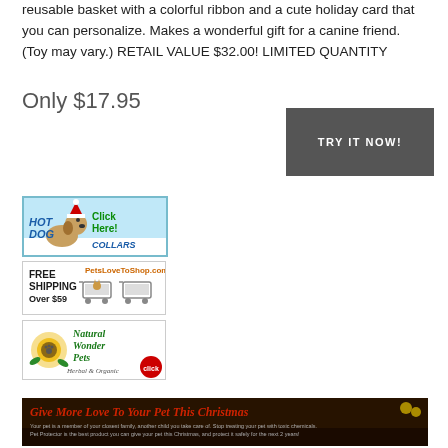reusable basket with a colorful ribbon and a cute holiday card that you can personalize. Makes a wonderful gift for a canine friend. (Toy may vary.) RETAIL VALUE $32.00! LIMITED QUANTITY
Only $17.95
[Figure (other): Dark gray button with white uppercase text 'TRY IT NOW!']
[Figure (illustration): HotDog Collars advertisement banner with cartoon dog wearing Santa hat, text 'Click Here!' in green, 'HOTDOG COLLARS' in blue italic]
[Figure (illustration): PetsLoveToShop.com advertisement with FREE SHIPPING Over $59, orange site name, cartoon cat in shopping cart]
[Figure (illustration): Natural Wonder Pets Herbal & Organic advertisement with sunflower and paw print logo, green italic text, red 'click' badge]
[Figure (illustration): Bottom banner: 'Give More Love To Your Pet This Christmas' in red italic script on dark background with small descriptive text below]